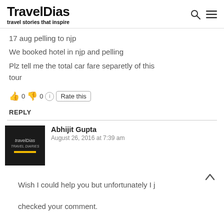TravelDias — travel stories that inspire
17 aug pelling to njp
We booked hotel in njp and pelling
Plz tell me the total car fare separetly of this tour
👍 0 👎 0 ℹ Rate this
REPLY
Abhijit Gupta
August 26, 2016 at 7:39 am
Wish I could help you but unfortunately I j checked your comment.